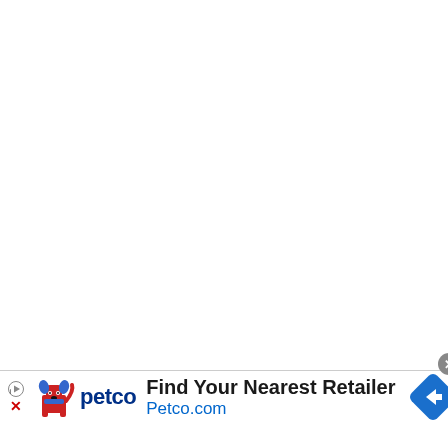[Figure (other): Large white/blank area above an advertisement banner — main page content area is empty/white]
[Figure (other): Petco advertisement banner. Shows Petco logo with cartoon dog mascot, text 'Find Your Nearest Retailer' and 'Petco.com', blue diamond navigation icon on the right, close button (gray circle with X) at top right, play icon and X icon on the left side.]